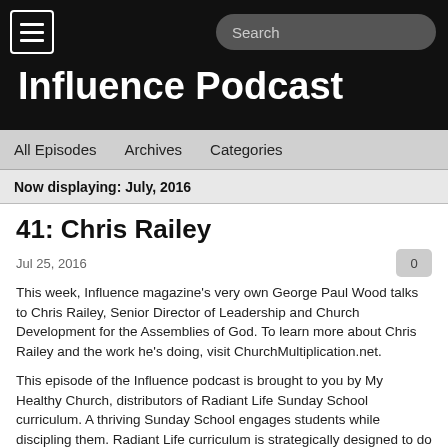Influence Podcast
All Episodes   Archives   Categories
Now displaying: July, 2016
41: Chris Railey
Jul 25, 2016
This week, Influence magazine’s very own George Paul Wood talks to Chris Railey, Senior Director of Leadership and Church Development for the Assemblies of God. To learn more about Chris Railey and the work he’s doing, visit ChurchMultiplication.net.
This episode of the Influence podcast is brought to you by My Healthy Church, distributors of Radiant Life Sunday School curriculum. A thriving Sunday School engages students while discipling them. Radiant Life curriculum is strategically designed to do just that, by featuring a Pentecostal, systematic